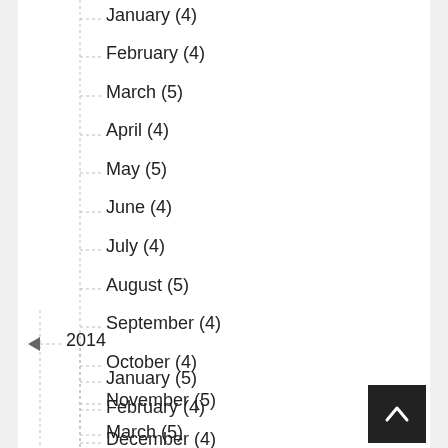January (4)
February (4)
March (5)
April (4)
May (5)
June (4)
July (4)
August (5)
September (4)
October (4)
November (5)
December (4)
2014
January (5)
February (4)
March (5)
April (3)
May (4)